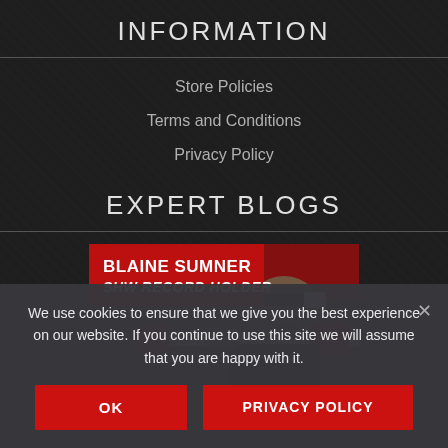INFORMATION
Store Policies
Terms and Conditions
Privacy Policy
EXPERT BLOGS
[Figure (photo): Blaine Sumner powerlifter performing a lift, with red overlay text reading BLAINE SUMNER SHW RECORD HOLDER]
We use cookies to ensure that we give you the best experience on our website. If you continue to use this site we will assume that you are happy with it.
OK
PRIVACY POLICY